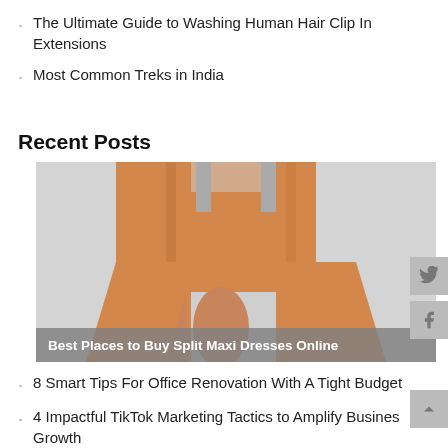The Ultimate Guide to Washing Human Hair Clip In Extensions
Most Common Treks in India
Recent Posts
[Figure (photo): Person wearing an orange split maxi dress against a light grey background]
Best Places to Buy Split Maxi Dresses Online
8 Smart Tips For Office Renovation With A Tight Budget
4 Impactful TikTok Marketing Tactics to Amplify Busines Growth